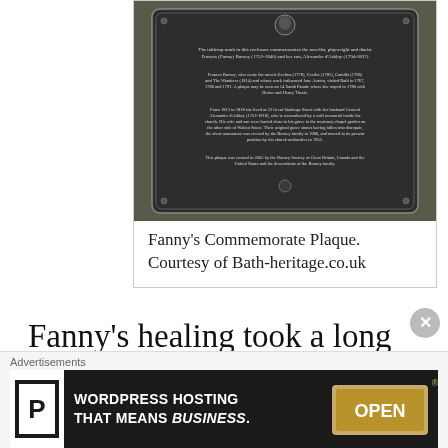[Figure (photo): A dark commemorative plaque for Frances (Fanny) Burney, mounted on stone, with white text describing her life and connection to Bath.]
Fanny's Commemorate Plaque. Courtesy of Bath-heritage.co.uk
Fanny's healing took a long time, and while still recuperating she and
Advertisements
[Figure (screenshot): WordPress Hosting advertisement banner: 'WORDPRESS HOSTING THAT MEANS BUSINESS.' with a P logo and an OPEN sign image.]